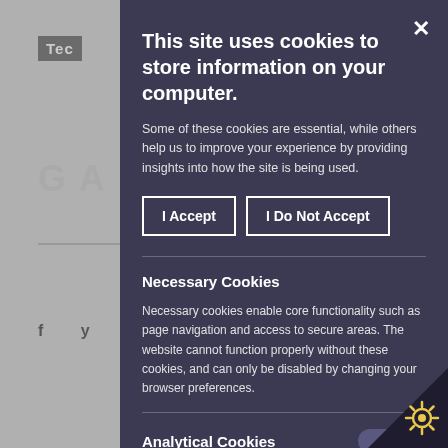[Figure (screenshot): Cookie consent modal overlay on a website. The modal has a dark navy/purple background and contains a title, explanatory text, Accept/Do Not Accept buttons, and sections for Necessary Cookies and Analytical Cookies with a toggle.]
This site uses cookies to store information on your computer.
Some of these cookies are essential, while others help us to improve your experience by providing insights into how the site is being used.
I Accept
I Do Not Accept
Necessary Cookies
Necessary cookies enable core functionality such as page navigation and access to secure areas. The website cannot function properly without these cookies, and can only be disabled by changing your browser preferences.
Analytical Cookies
Analytical cookies help us to improve our website by collecting and reporting information on its usage.